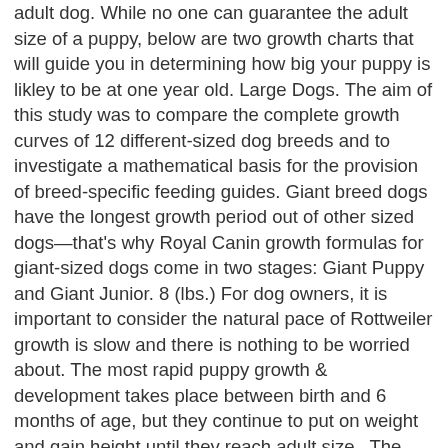adult dog. While no one can guarantee the adult size of a puppy, below are two growth charts that will guide you in determining how big your puppy is likley to be at one year old. Large Dogs. The aim of this study was to compare the complete growth curves of 12 different-sized dog breeds and to investigate a mathematical basis for the provision of breed-specific feeding guides. Giant breed dogs have the longest growth period out of other sized dogs—that's why Royal Canin growth formulas for giant-sized dogs come in two stages: Giant Puppy and Giant Junior. 8 (lbs.) For dog owners, it is important to consider the natural pace of Rottweiler growth is slow and there is nothing to be worried about. The most rapid puppy growth & development takes place between birth and 6 months of age, but they continue to put on weight and gain height until they reach adult size.. The framework of the body is composed of muscle and bone which have to grow in synchrony. The most rapid puppy growth & development takes place between birth and 6 months of age, but they continue to put on weight and gain height until they reach adult size.. Predictor.. METHODS AND MATERIALS